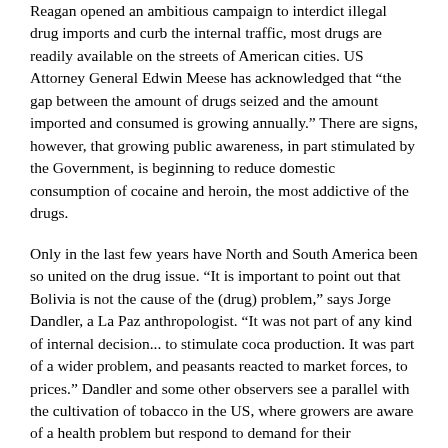Reagan opened an ambitious campaign to interdict illegal drug imports and curb the internal traffic, most drugs are readily available on the streets of American cities. US Attorney General Edwin Meese has acknowledged that "the gap between the amount of drugs seized and the amount imported and consumed is growing annually." There are signs, however, that growing public awareness, in part stimulated by the Government, is beginning to reduce domestic consumption of cocaine and heroin, the most addictive of the drugs.
Only in the last few years have North and South America been so united on the drug issue. "It is important to point out that Bolivia is not the cause of the (drug) problem," says Jorge Dandler, a La Paz anthropologist. "It was not part of any kind of internal decision... to stimulate coca production. It was part of a wider problem, and peasants reacted to market forces, to prices." Dandler and some other observers see a parallel with the cultivation of tobacco in the US, where growers are aware of a health problem but respond to demand for their traditional crop.